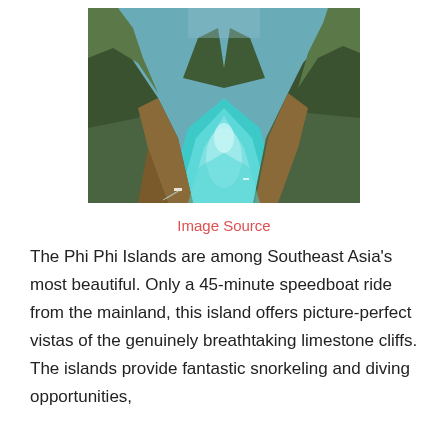[Figure (photo): Aerial view of Phi Phi Islands showing turquoise water between tall limestone cliffs covered in green vegetation, with boats visible on the water]
Image Source
The Phi Phi Islands are among Southeast Asia's most beautiful. Only a 45-minute speedboat ride from the mainland, this island offers picture-perfect vistas of the genuinely breathtaking limestone cliffs. The islands provide fantastic snorkeling and diving opportunities,